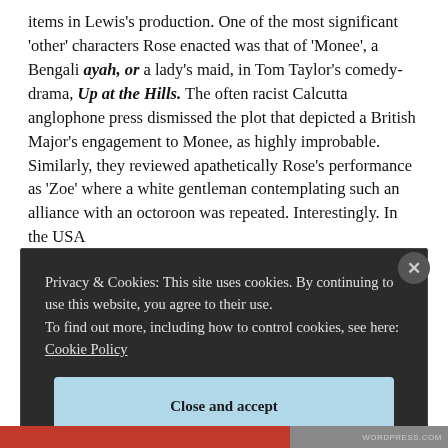items in Lewis's production. One of the most significant 'other' characters Rose enacted was that of 'Monee', a Bengali ayah, or a lady's maid, in Tom Taylor's comedy-drama, Up at the Hills. The often racist Calcutta anglophone press dismissed the plot that depicted a British Major's engagement to Monee, as highly improbable. Similarly, they reviewed apathetically Rose's performance as 'Zoe' where a white gentleman contemplating such an alliance with an octoroon was repeated. Interestingly. In the USA
Privacy & Cookies: This site uses cookies. By continuing to use this website, you agree to their use.
To find out more, including how to control cookies, see here: Cookie Policy
Close and accept